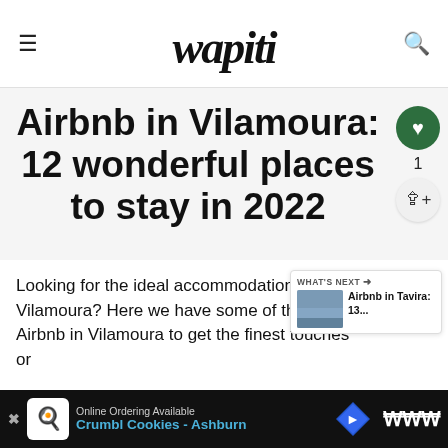wapiti
Airbnb in Vilamoura: 12 wonderful places to stay in 2022
Looking for the ideal accommodation in Vilamoura? Here we have some of the best Airbnb in Vilamoura to get the finest touches or...
[Figure (screenshot): WHAT'S NEXT arrow box showing thumbnail and text: Airbnb in Tavira: 13...]
[Figure (screenshot): Ad banner: Online Ordering Available – Crumbl Cookies - Ashburn]